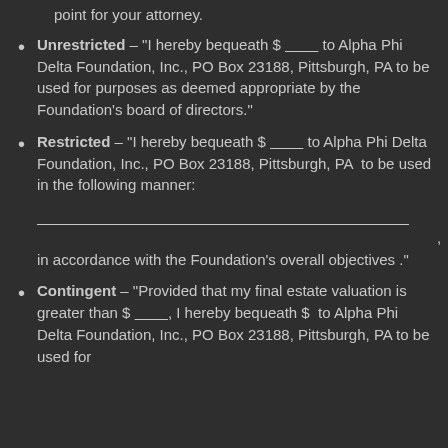point for your attorney.
Unrestricted – "I hereby bequeath $ ________ to Alpha Phi Delta Foundation, Inc., PO Box 23188, Pittsburgh, PA to be used for purposes as deemed appropriate by the Foundation's board of directors."
Restricted – "I hereby bequeath $ ________ to Alpha Phi Delta Foundation, Inc., PO Box 23188, Pittsburgh, PA  to be used in the following manner:
________________________________________ , in accordance with the Foundation's overall objectives ."
Contingent – "Provided that my final estate valuation is greater than $ ________, I hereby bequeath $  to Alpha Phi Delta Foundation, Inc., PO Box 23188, Pittsburgh, PA to be used for